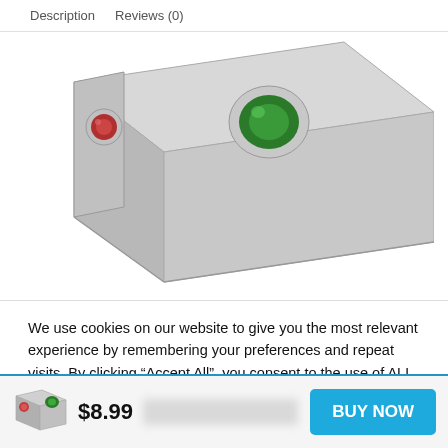Description   Reviews (0)
[Figure (illustration): 3D rendered image of a small silver/grey audio adapter or USB device with a red port and a green port on its front face, viewed from a slight angle above.]
We use cookies on our website to give you the most relevant experience by remembering your preferences and repeat visits. By clicking “Accept All”, you consent to the use of ALL the cookies. However, you may visit “Cookie Settings” to provide a controlled consent.
[Figure (illustration): Small thumbnail of the same silver audio adapter product with red and green ports.]
$8.99
BUY NOW